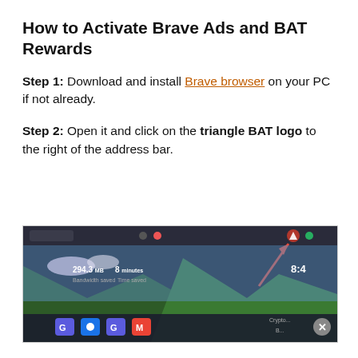How to Activate Brave Ads and BAT Rewards
Step 1: Download and install Brave browser on your PC if not already.
Step 2: Open it and click on the triangle BAT logo to the right of the address bar.
[Figure (screenshot): Screenshot of Brave browser showing the address bar area with a red arrow pointing to the triangle BAT logo icon in the upper right. Stats visible: 294.3 MB bandwidth saved, 8 minutes time saved. Time shown: 8:4x. Bottom dock icons visible.]